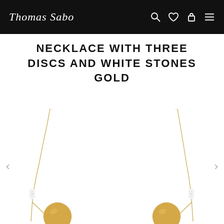Thomas Sabo
NECKLACE WITH THREE DISCS AND WHITE STONES GOLD
[Figure (photo): Close-up product photo of a gold necklace with three discs and white stone accents on a white background. Two gold disc pendants are visible at the bottom left and right, with white baguette-cut stone accents on the chain. Navigation arrows are shown on the left and right sides.]